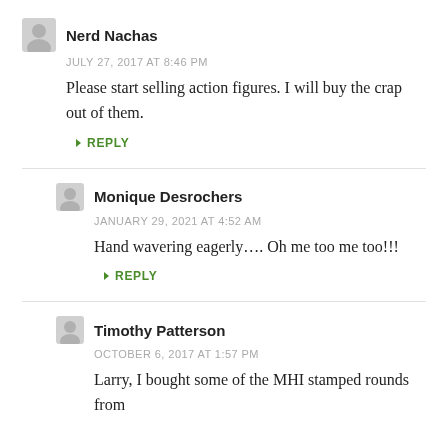Nerd Nachas
JULY 27, 2017 AT 8:46 PM
Please start selling action figures. I will buy the crap out of them.
↳ REPLY
Monique Desrochers
JANUARY 29, 2021 AT 4:52 AM
Hand wavering eagerly…. Oh me too me too!!!
↳ REPLY
Timothy Patterson
OCTOBER 6, 2017 AT 1:57 PM
Larry, I bought some of the MHI stamped rounds from